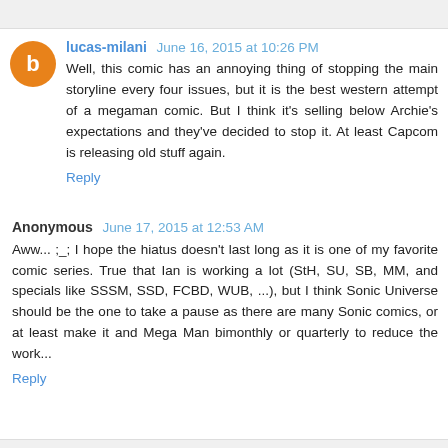lucas-milani  June 16, 2015 at 10:26 PM
Well, this comic has an annoying thing of stopping the main storyline every four issues, but it is the best western attempt of a megaman comic. But I think it's selling below Archie's expectations and they've decided to stop it. At least Capcom is releasing old stuff again.
Reply
Anonymous  June 17, 2015 at 12:53 AM
Aww... ;_; I hope the hiatus doesn't last long as it is one of my favorite comic series. True that Ian is working a lot (StH, SU, SB, MM, and specials like SSSM, SSD, FCBD, WUB, ...), but I think Sonic Universe should be the one to take a pause as there are many Sonic comics, or at least make it and Mega Man bimonthly or quarterly to reduce the work...
Reply